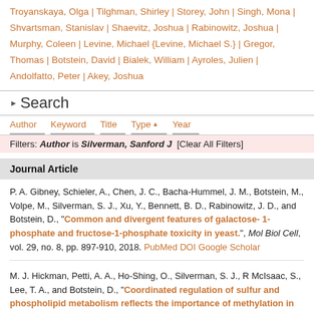Troyanskaya, Olga | Tilghman, Shirley | Storey, John | Singh, Mona | Shvartsman, Stanislav | Shaevitz, Joshua | Rabinowitz, Joshua | Murphy, Coleen | Levine, Michael {Levine, Michael S.} | Gregor, Thomas | Botstein, David | Bialek, William | Ayroles, Julien | Andolfatto, Peter | Akey, Joshua
Search
Author | Keyword | Title | Type | Year
Filters: Author is Silverman, Sanford J [Clear All Filters]
Journal Article
P. A. Gibney, Schieler, A., Chen, J. C., Bacha-Hummel, J. M., Botstein, M., Volpe, M., Silverman, S. J., Xu, Y., Bennett, B. D., Rabinowitz, J. D., and Botstein, D., "Common and divergent features of galactose-1-phosphate and fructose-1-phosphate toxicity in yeast.", Mol Biol Cell, vol. 29, no. 8, pp. 897-910, 2018. PubMed DOI Google Scholar
M. J. Hickman, Petti, A. A., Ho-Shing, O., Silverman, S. J., R McIsaac, S., Lee, T. A., and Botstein, D., "Coordinated regulation of sulfur and phospholipid metabolism reflects the importance of methylation in the growth of yeast.", Mol Biol Cell, vol. 22, no. 21